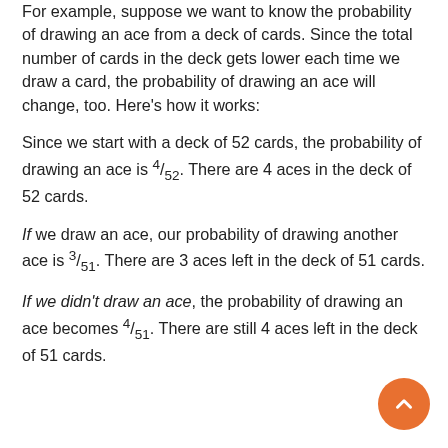For example, suppose we want to know the probability of drawing an ace from a deck of cards. Since the total number of cards in the deck gets lower each time we draw a card, the probability of drawing an ace will change, too. Here's how it works:
Since we start with a deck of 52 cards, the probability of drawing an ace is 4/52. There are 4 aces in the deck of 52 cards.
If we draw an ace, our probability of drawing another ace is 3/51. There are 3 aces left in the deck of 51 cards.
If we didn't draw an ace, the probability of drawing an ace becomes 4/51. There are still 4 aces left in the deck of 51 cards.